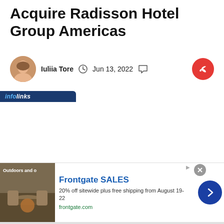Acquire Radisson Hotel Group Americas
Iuliia Tore  Jun 13, 2022  4 minute read
[Figure (infographic): Advertisement banner: Frontgate SALES - 20% off sitewide plus free shipping from August 19-22, frontgate.com, with outdoor furniture image and navigation arrow]